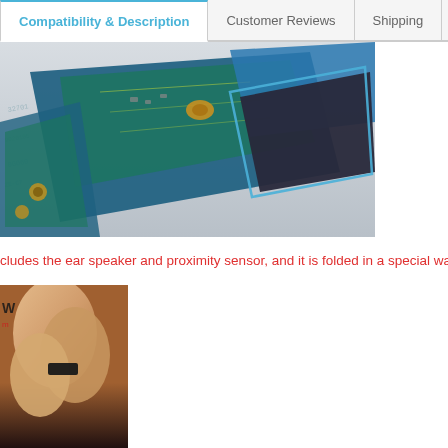Compatibility & Description | Customer Reviews | Shipping
[Figure (photo): Close-up photo of a smartphone PCB/circuit board being disassembled, showing blue circuit board with components and a black screen/panel being peeled away.]
cludes the ear speaker and proximity sensor, and it is folded in a special way.
[Figure (photo): Close-up photo of fingers holding a small electronic component or flex cable, with a watermark overlay.]